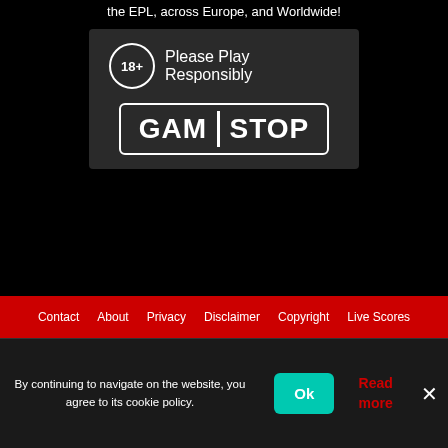the EPL, across Europe, and Worldwide!
[Figure (logo): GamStop 18+ Please Play Responsibly logo on dark background]
Contact  About  Privacy  Disclaimer  Copyright  Live Scores
By continuing to navigate on the website, you agree to its cookie policy.
Ok
Read more